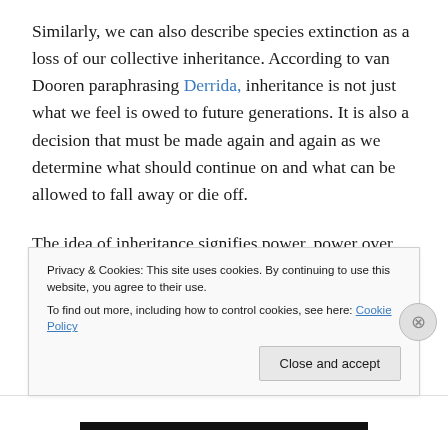Similarly, we can also describe species extinction as a loss of our collective inheritance. According to van Dooren paraphrasing Derrida, inheritance is not just what we feel is owed to future generations. It is also a decision that must be made again and again as we determine what should continue on and what can be allowed to fall away or die off.
The idea of inheritance signifies power, power over (and therefore separation from) the artifacts and living beings handed down through the ages. And yet inheritance also
Privacy & Cookies: This site uses cookies. By continuing to use this website, you agree to their use.
To find out more, including how to control cookies, see here: Cookie Policy